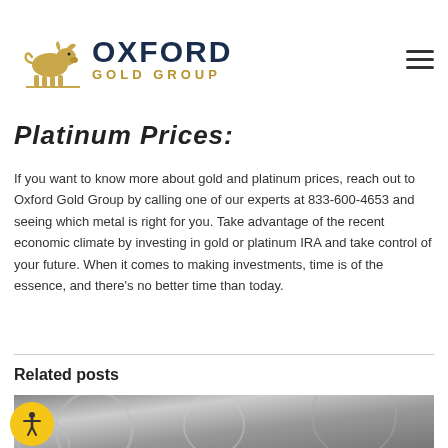Oxford Gold Group
Platinum Prices:
If you want to know more about gold and platinum prices, reach out to Oxford Gold Group by calling one of our experts at 833-600-4653 and seeing which metal is right for you. Take advantage of the recent economic climate by investing in gold or platinum IRA and take control of your future. When it comes to making investments, time is of the essence, and there's no better time than today.
Related posts
[Figure (photo): Close-up photograph of silver coins stacked and arranged, showing detailed engravings on the surface of the coins.]